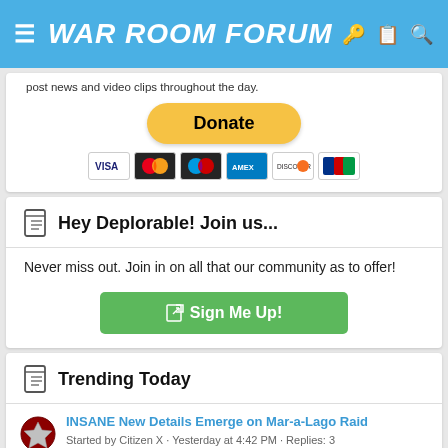WAR ROOM FORUM
post news and video clips throughout the day.
[Figure (other): Yellow PayPal Donate button with credit card icons below (Visa, Mastercard, Maestro, Amex, Discover, JCB)]
Hey Deplorable! Join us...
Never miss out. Join in on all that our community as to offer!
[Figure (other): Green Sign Me Up! button with edit icon]
Trending Today
INSANE New Details Emerge on Mar-a-Lago Raid
Started by Citizen X · Yesterday at 4:42 PM · Replies: 3
War Room Curated News